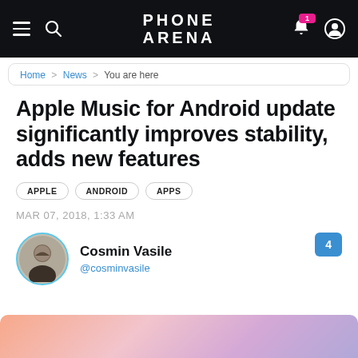PHONE ARENA
Home > News > You are here
Apple Music for Android update significantly improves stability, adds new features
APPLE
ANDROID
APPS
MAR 07, 2018, 1:33 AM
Cosmin Vasile @cosminvasile
[Figure (illustration): Gradient background image in pink, lavender and purple tones at the bottom of the page]